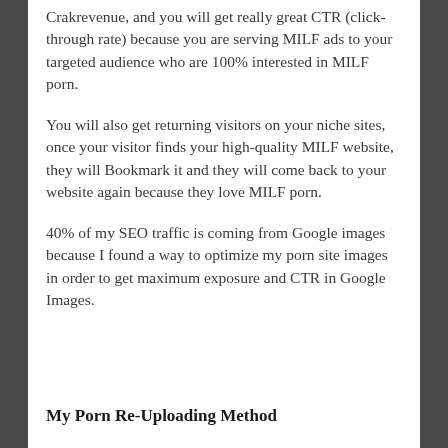Crakrevenue, and you will get really great CTR (click-through rate) because you are serving MILF ads to your targeted audience who are 100% interested in MILF porn.
You will also get returning visitors on your niche sites, once your visitor finds your high-quality MILF website, they will Bookmark it and they will come back to your website again because they love MILF porn.
40% of my SEO traffic is coming from Google images because I found a way to optimize my porn site images in order to get maximum exposure and CTR in Google Images.
My Porn Re-Uploading Method